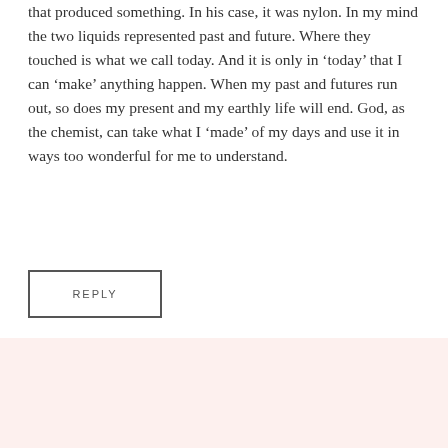that produced something. In his case, it was nylon. In my mind the two liquids represented past and future. Where they touched is what we call today. And it is only in 'today' that I can 'make' anything happen. When my past and futures run out, so does my present and my earthly life will end. God, as the chemist, can take what I 'made' of my days and use it in ways too wonderful for me to understand.
REPLY
[Figure (photo): A woman with short dark brown hair, smiling, wearing a dark jacket with a green accent, photographed outdoors with a stone background.]